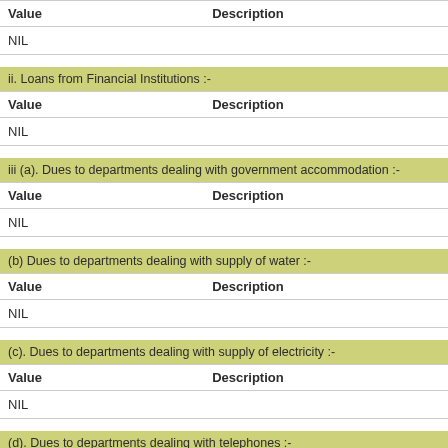| Value | Description |
| --- | --- |
| NIL |  |
ii. Loans from Financial Institutions :-
| Value | Description |
| --- | --- |
| NIL |  |
iii (a). Dues to departments dealing with government accommodation :-
| Value | Description |
| --- | --- |
| NIL |  |
(b) Dues to departments dealing with supply of water :-
| Value | Description |
| --- | --- |
| NIL |  |
(c). Dues to departments dealing with supply of electricity :-
| Value | Description |
| --- | --- |
| NIL |  |
(d). Dues to departments dealing with telephones :-